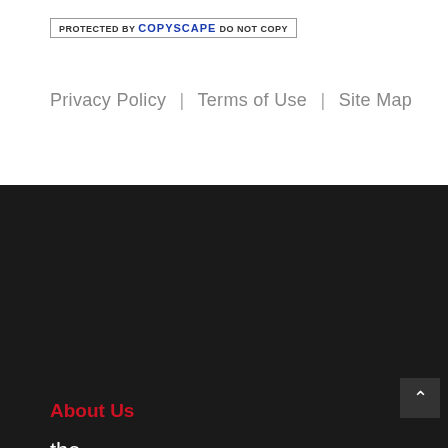[Figure (other): Copyscape badge: PROTECTED BY COPYSCAPE DO NOT COPY]
Privacy Policy | Terms of Use | Site Map
About Us
[Figure (logo): The Epicentre logo: 'the epicentre' in white bold text on dark background with red dot over letter i and red underline]
The Epicentre is about herbs and spices, the spice trade, cooking with spices, recipes and health benefits of spice. We have an online shop for hard-to-find and best-quality spices and blends.